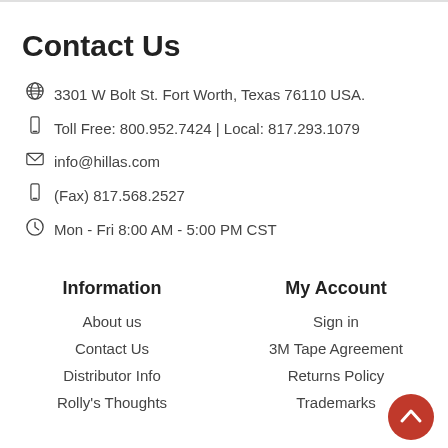Contact Us
3301 W Bolt St. Fort Worth, Texas 76110 USA.
Toll Free: 800.952.7424 | Local: 817.293.1079
info@hillas.com
(Fax) 817.568.2527
Mon - Fri 8:00 AM - 5:00 PM CST
Information
About us
Contact Us
Distributor Info
Rolly's Thoughts
My Account
Sign in
3M Tape Agreement
Returns Policy
Trademarks